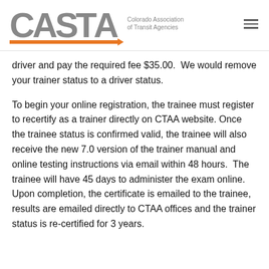CASTA — Colorado Association of Transit Agencies
driver and pay the required fee $35.00.  We would remove your trainer status to a driver status.
To begin your online registration, the trainee must register to recertify as a trainer directly on CTAA website. Once the trainee status is confirmed valid, the trainee will also receive the new 7.0 version of the trainer manual and online testing instructions via email within 48 hours.  The trainee will have 45 days to administer the exam online.  Upon completion, the certificate is emailed to the trainee, results are emailed directly to CTAA offices and the trainer status is re-certified for 3 years.